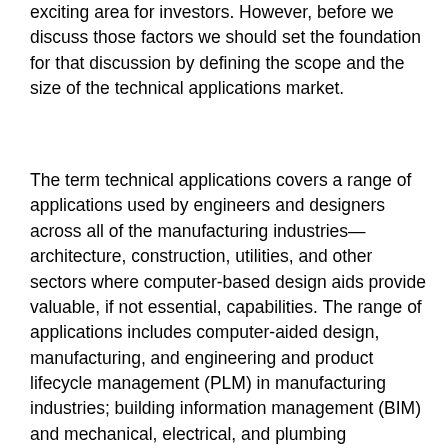exciting area for investors. However, before we discuss those factors we should set the foundation for that discussion by defining the scope and the size of the technical applications market.
The term technical applications covers a range of applications used by engineers and designers across all of the manufacturing industries—architecture, construction, utilities, and other sectors where computer-based design aids provide valuable, if not essential, capabilities. The range of applications includes computer-aided design, manufacturing, and engineering and product lifecycle management (PLM) in manufacturing industries; building information management (BIM) and mechanical, electrical, and plumbing engineering in architecture, technical, and construction (AEC); and geographic information systems for geospatial applications. There are also the applications such as visual effects used by creative